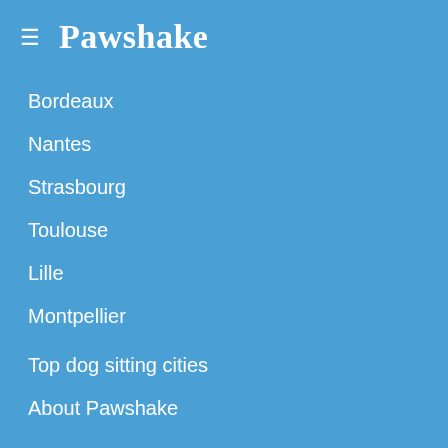≡ Pawshake
Bordeaux
Nantes
Strasbourg
Toulouse
Lille
Montpellier
Top dog sitting cities
About Pawshake